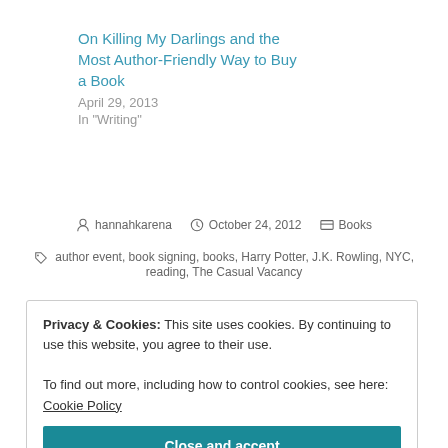On Killing My Darlings and the Most Author-Friendly Way to Buy a Book
April 29, 2013
In "Writing"
hannahkarena   October 24, 2012   Books
author event, book signing, books, Harry Potter, J.K. Rowling, NYC, reading, The Casual Vacancy
Privacy & Cookies: This site uses cookies. By continuing to use this website, you agree to their use.
To find out more, including how to control cookies, see here: Cookie Policy
Close and accept